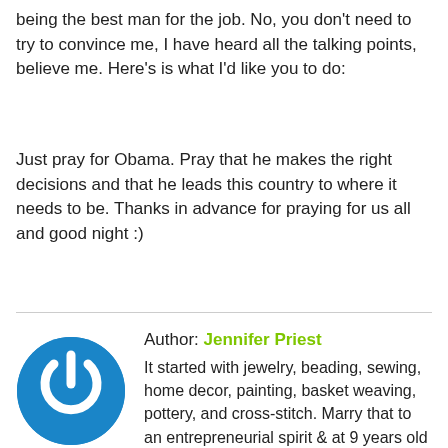being the best man for the job. No, you don't need to try to convince me, I have heard all the talking points, believe me. Here's is what I'd like you to do:
Just pray for Obama. Pray that he makes the right decisions and that he leads this country to where it needs to be. Thanks in advance for praying for us all and good night :)
[Figure (logo): Blue circular power button icon — a white power symbol inside a blue circle]
Author: Jennifer Priest
It started with jewelry, beading, sewing, home decor, painting, basket weaving, pottery, and cross-stitch. Marry that to an entrepreneurial spirit & at 9 years old